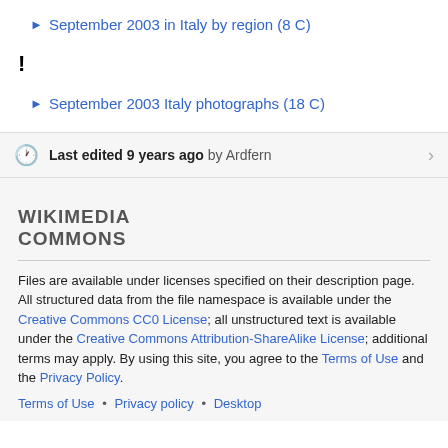► September 2003 in Italy by region (8 C)
!
► September 2003 Italy photographs (18 C)
Last edited 9 years ago by Ardfern
WIKIMEDIA COMMONS
Files are available under licenses specified on their description page. All structured data from the file namespace is available under the Creative Commons CC0 License; all unstructured text is available under the Creative Commons Attribution-ShareAlike License; additional terms may apply. By using this site, you agree to the Terms of Use and the Privacy Policy.
Terms of Use • Privacy policy • Desktop